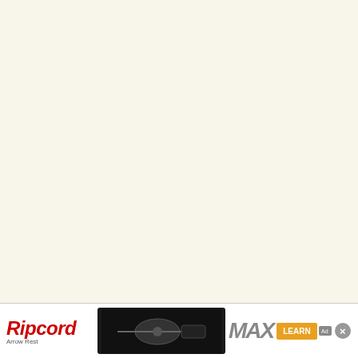[Figure (other): Car listing card 1 - black background with white car icon]
2000 Chevro... Manual 6 Spe... Added Jun 20... Property of [user icon]
[Figure (other): Car listing card 2 - black background with white car icon]
Z28
2000 Chevro... Standard 6 Sp... Added Sep 20... Property of [user icon]
[Figure (other): Car listing card 3 - black background with white car icon]
My Cama...
2000 Chevro... Manual 6 Spe... Added Jun 20... Property of [user icon]
[Figure (other): Car listing card 4 - black background with white car icon]
Camaro
2000 Chevro... Automati... S... ded Aug 20... Property
[Figure (other): Ripcord Arrow Rest advertisement banner at bottom of page]